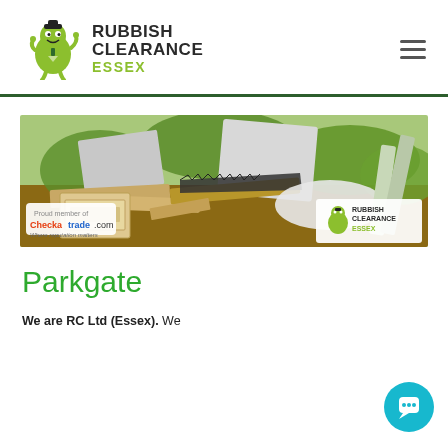[Figure (logo): Rubbish Clearance Essex logo with green mascot character holding a sign, text RUBBISH CLEARANCE in dark grey and ESSEX in green]
[Figure (photo): Banner photo showing a pile of rubbish/junk including wooden boards, furniture parts, debris outdoors. Checkatrade.com badge on left, Rubbish Clearance Essex logo on right.]
Parkgate
We are RC Ltd (Essex). We